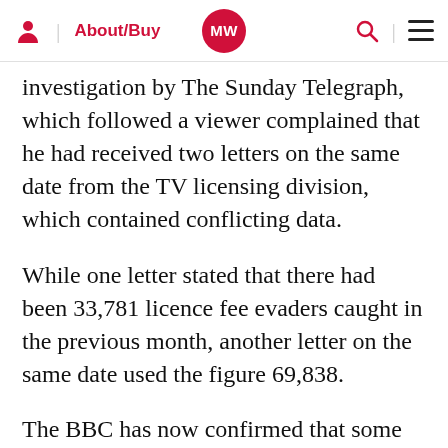About/Buy | MW | search | menu
investigation by The Sunday Telegraph, which followed a viewer complained that he had received two letters on the same date from the TV licensing division, which contained conflicting data.
While one letter stated that there had been 33,781 licence fee evaders caught in the previous month, another letter on the same date used the figure 69,838.
The BBC has now confirmed that some statistics used between January 2006 to November 2008 were inaccurate.
Proximity has either sacked or taken